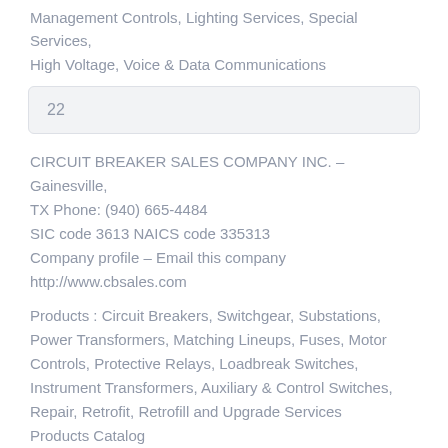Management Controls, Lighting Services, Special Services, High Voltage, Voice & Data Communications
22
CIRCUIT BREAKER SALES COMPANY INC. – Gainesville, TX Phone: (940) 665-4484
SIC code 3613 NAICS code 335313
Company profile – Email this company
http://www.cbsales.com
Products : Circuit Breakers, Switchgear, Substations, Power Transformers, Matching Lineups, Fuses, Motor Controls, Protective Relays, Loadbreak Switches, Instrument Transformers, Auxiliary & Control Switches, Repair, Retrofit, Retrofill and Upgrade Services Products Catalog
23